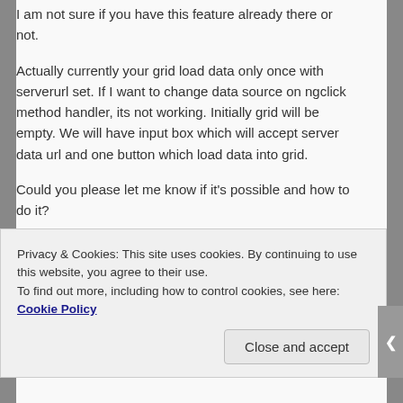I am not sure if you have this feature already there or not.

Actually currently your grid load data only once with serverurl set. If I want to change data source on ngclick method handler, its not working. Initially grid will be empty. We will have input box which will accept server data url and one button which load data into grid.

Could you please let me know if it's possible and how to do it?

Thanks in advance.
Privacy & Cookies: This site uses cookies. By continuing to use this website, you agree to their use.
To find out more, including how to control cookies, see here: Cookie Policy